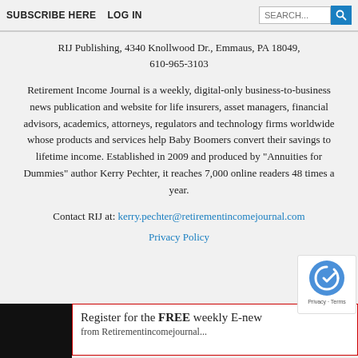SUBSCRIBE HERE   LOG IN
RIJ Publishing, 4340 Knollwood Dr., Emmaus, PA 18049, 610-965-3103
Retirement Income Journal is a weekly, digital-only business-to-business news publication and website for life insurers, asset managers, financial advisors, academics, attorneys, regulators and technology firms worldwide whose products and services help Baby Boomers convert their savings to lifetime income. Established in 2009 and produced by "Annuities for Dummies" author Kerry Pechter, it reaches 7,000 online readers 48 times a year.
Contact RIJ at: kerry.pechter@retirementincomejournal.com
Privacy Policy
Register for the FREE weekly E-new
from Retirementincomejournal...